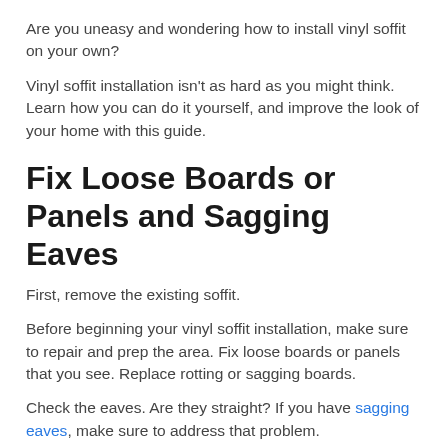Are you uneasy and wondering how to install vinyl soffit on your own?
Vinyl soffit installation isn't as hard as you might think. Learn how you can do it yourself, and improve the look of your home with this guide.
Fix Loose Boards or Panels and Sagging Eaves
First, remove the existing soffit.
Before beginning your vinyl soffit installation, make sure to repair and prep the area. Fix loose boards or panels that you see. Replace rotting or sagging boards.
Check the eaves. Are they straight? If you have sagging eaves, make sure to address that problem.